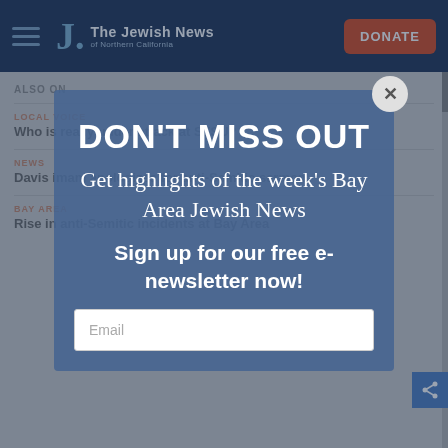The Jewish News of Northern California
ALSO ON
LOCAL VOICE
Who is really under attack at SFSU?
NEWS
Davis imam apologizes for anti-Semitic sermon
BAY AREA
Rise in anti-Semitic incidents at Bay Area
[Figure (screenshot): Modal popup overlay with newsletter signup. Headline: DON'T MISS OUT. Subtext: Get highlights of the week's Bay Area Jewish News. CTA: Sign up for our free e-newsletter now! Email input field visible at bottom.]